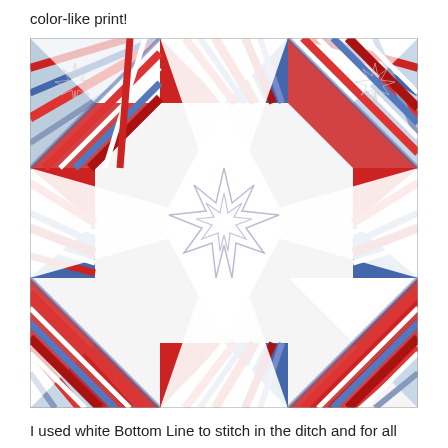color-like print!
[Figure (photo): A quilt with a star pattern made from red, white, and blue patchwork fabric strips arranged in a pinwheel/star design. The center features a white square with a quilted star outline. The border blocks alternate between colorful patchwork triangles and white triangles.]
I used white Bottom Line to stitch in the ditch and for all the stippling.  I used a heavy Coats and Clark variegated thread for the stars and the hearts.  I have mixed feelings about the way the stars turned out on the white areas.  I